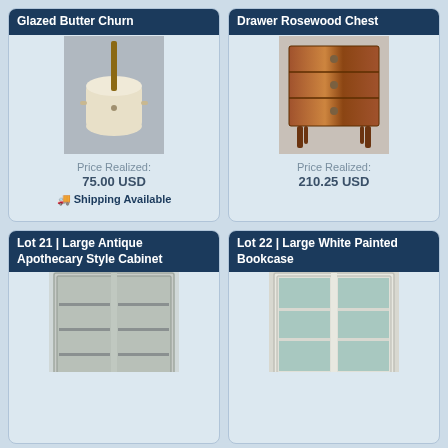Glazed Butter Churn
[Figure (photo): A glazed ceramic butter churn with wooden handle, cream/off-white color, barrel shaped]
Price Realized: 75.00 USD
🚚 Shipping Available
Drawer Rosewood Chest
[Figure (photo): A mid-century modern 3-drawer rosewood chest with tapered legs]
Price Realized: 210.25 USD
Lot 21 | Large Antique Apothecary Style Cabinet
[Figure (photo): A large antique apothecary style cabinet with glass doors, painted gray/white]
Lot 22 | Large White Painted Bookcase
[Figure (photo): A large white painted bookcase with glass doors and teal/green interior shelves]